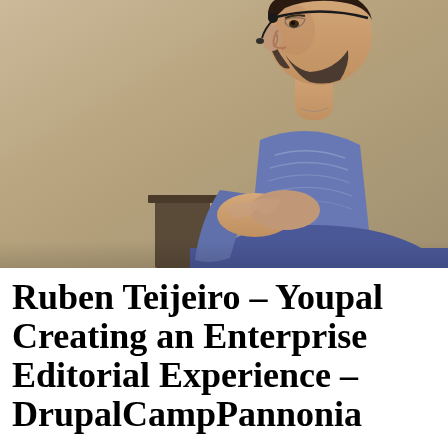[Figure (photo): A bearded man wearing a blue t-shirt and headset microphone, photographed from the side/profile while presenting. He has his hands clasped together. The background is a blurred warm beige/tan wall with what appears to be a podium or stand behind him.]
Ruben Teijeiro – Youpal Creating an Enterprise Editorial Experience – DrupalCampPannonia